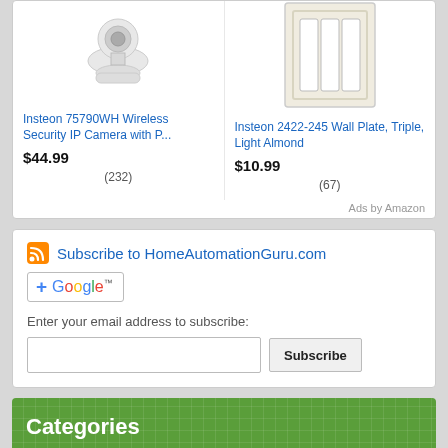[Figure (photo): Insteon 75790WH Wireless Security IP Camera product image]
Insteon 75790WH Wireless Security IP Camera with P...
$44.99
(232)
[Figure (photo): Insteon 2422-245 Wall Plate, Triple, Light Almond product image]
Insteon 2422-245 Wall Plate, Triple, Light Almond
$10.99
(67)
Ads by Amazon
Subscribe to HomeAutomationGuru.com
[Figure (logo): Add to Google button with blue plus sign and Google logo]
Enter your email address to subscribe:
Subscribe
Categories